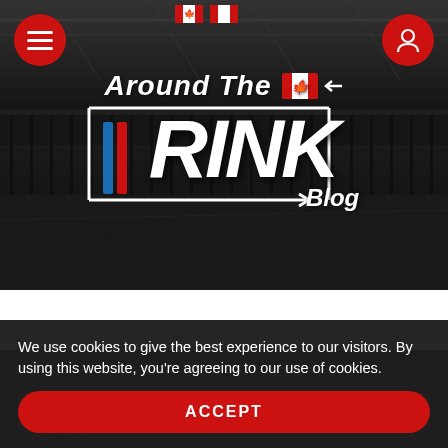[Figure (screenshot): Hockey rink arena photo used as hero background image, dark and desaturated]
Around The RINK Blog
RINK Welcomes Mike Liambas as Coach
5 Aug 2021
We use cookies to give the best experience to our visitors. By using this website, you're agreeing to our use of cookies.
ACCEPT